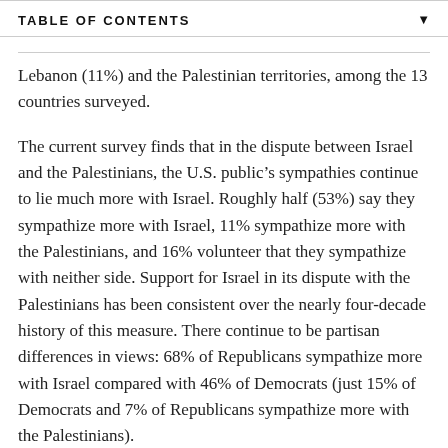TABLE OF CONTENTS
Lebanon (11%) and the Palestinian territories, among the 13 countries surveyed.
The current survey finds that in the dispute between Israel and the Palestinians, the U.S. public’s sympathies continue to lie much more with Israel. Roughly half (53%) say they sympathize more with Israel, 11% sympathize more with the Palestinians, and 16% volunteer that they sympathize with neither side. Support for Israel in its dispute with the Palestinians has been consistent over the nearly four-decade history of this measure. There continue to be partisan differences in views: 68% of Republicans sympathize more with Israel compared with 46% of Democrats (just 15% of Democrats and 7% of Republicans sympathize more with the Palestinians).
The survey was completed before controversy arose over